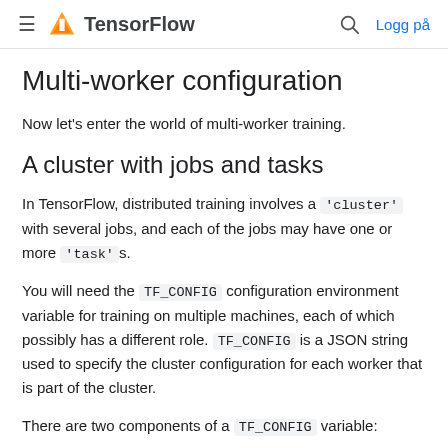TensorFlow  Logg på
Multi-worker configuration
Now let's enter the world of multi-worker training.
A cluster with jobs and tasks
In TensorFlow, distributed training involves a 'cluster' with several jobs, and each of the jobs may have one or more 'task's.
You will need the TF_CONFIG configuration environment variable for training on multiple machines, each of which possibly has a different role. TF_CONFIG is a JSON string used to specify the cluster configuration for each worker that is part of the cluster.
There are two components of a TF_CONFIG variable: